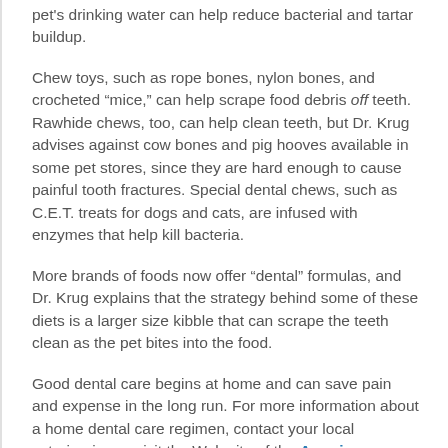pet's drinking water can help reduce bacterial and tartar buildup.
Chew toys, such as rope bones, nylon bones, and crocheted “mice,” can help scrape food debris off teeth. Rawhide chews, too, can help clean teeth, but Dr. Krug advises against cow bones and pig hooves available in some pet stores, since they are hard enough to cause painful tooth fractures. Special dental chews, such as C.E.T. treats for dogs and cats, are infused with enzymes that help kill bacteria.
More brands of foods now offer “dental” formulas, and Dr. Krug explains that the strategy behind some of these diets is a larger size kibble that can scrape the teeth clean as the pet bites into the food.
Good dental care begins at home and can save pain and expense in the long run. For more information about a home dental care regimen, contact your local veterinarian or visit the Web site of the American Veterinary Dental